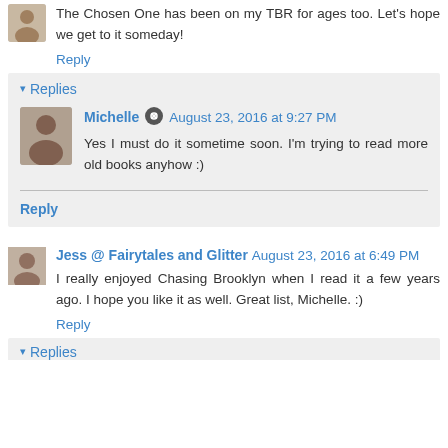The Chosen One has been on my TBR for ages too. Let's hope we get to it someday!
Reply
Replies
Michelle  August 23, 2016 at 9:27 PM
Yes I must do it sometime soon. I'm trying to read more old books anyhow :)
Reply
Jess @ Fairytales and Glitter  August 23, 2016 at 6:49 PM
I really enjoyed Chasing Brooklyn when I read it a few years ago. I hope you like it as well. Great list, Michelle. :)
Reply
Replies